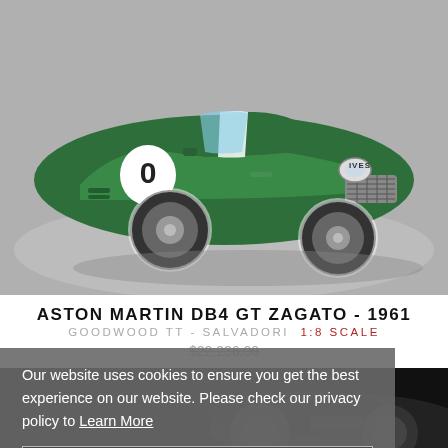[Figure (photo): Green Aston Martin DB4 GT Zagato racing car with number 0 roundel, photographed against a grey studio background, three-quarter front view.]
ASTON MARTIN DB4 GT ZAGATO - 1961
GOODWOOD TT - SALVADORI  1:8 SCALE
$22,236.00
Our website uses cookies to ensure you get the best experience on our website. Please check our privacy policy to Learn More
Got it!
[Figure (photo): Dark partial view of a second scale model car, visible at the bottom of the page.]